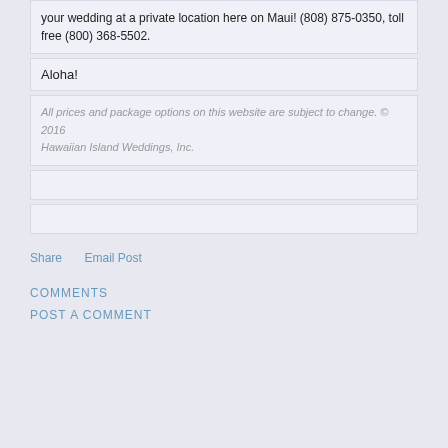your wedding at a private location here on Maui! (808) 875-0350, toll free (800) 368-5502.
Aloha!
All prices and package options on this website are subject to change. © 2016 Hawaiian Island Weddings, Inc.
Share   Email Post
COMMENTS
POST A COMMENT